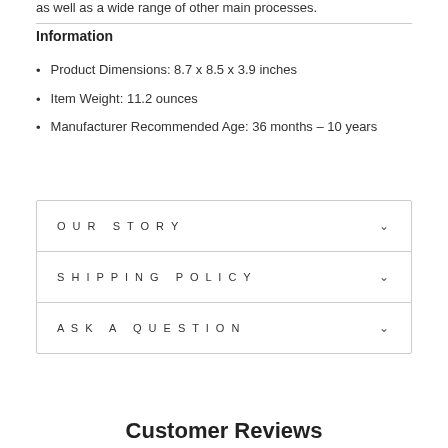as well as a wide range of other main processes.
Information
Product Dimensions: 8.7 x 8.5 x 3.9 inches
Item Weight: 11.2 ounces
Manufacturer Recommended Age: 36 months – 10 years
OUR STORY
SHIPPING POLICY
ASK A QUESTION
Customer Reviews